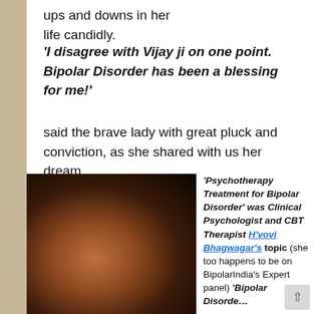ups and downs in her life candidly.
‘I disagree with Vijay ji on one point. Bipolar Disorder has been a blessing for me!’
said the brave lady with great pluck and conviction, as she shared with us her dream…
[Figure (photo): Dark blurred portrait photograph with warm brown and dark tones]
‘Psychotherapy Treatment for Bipolar Disorder’ was Clinical Psychologist and CBT Therapist H’vovi Bhagwagar’s topic (she too happens to be on BipolarIndia’s Expert panel) ‘Bipolar Disorder…